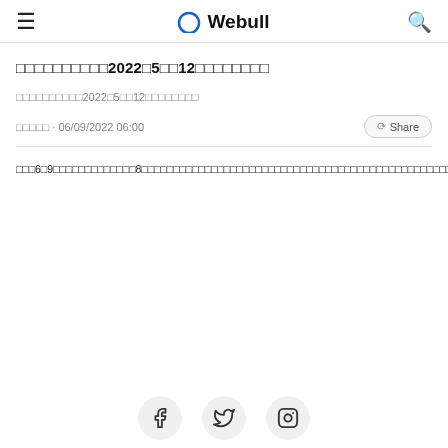≡  Webull  🔍
□□□□□□□□□□2022□5□□12□□□□□□□□
□□□□□□□□□□2022□5□□12□□□□□□□□
□□□□□ · 06/09/2022 06:00   Share
□□□6□9□□□□□□□□□□□□□8□□□□□□□□□□□□□□□□□□□□□□□□□□□□□□□□□□□□□□□□□□□□□□□□□□□□□□□□□□□□□□□□□□□□□□□□□□□□□□□□□□□□□□2022□12□31□□□□□□□□□□□□□□□□□□□□□□□□□□□□□□□□□□□□□□□□□□□□□□□□□□□□□□□□□□□□□□□□□□2022□5□12□□□□□□□□□□□□□□□□□□□□□□□□□□□□□□□□□□□□□□□□□□□□□□□□□□□□□□□□□□□□□□2022□5□12□□□□□□□□□□□□□□□□□□□□□1200□□□□□1500□□□□□□□□□□□□2400□□□□□3000□□